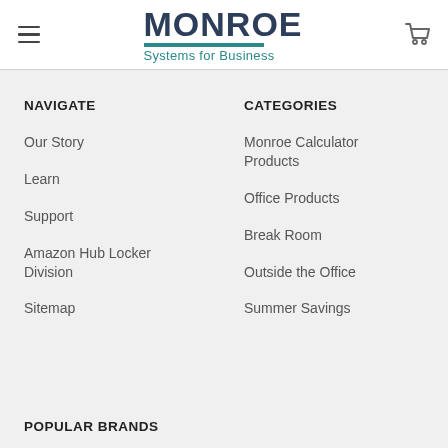MONROE Systems for Business
NAVIGATE
Our Story
Learn
Support
Amazon Hub Locker Division
Sitemap
CATEGORIES
Monroe Calculator Products
Office Products
Break Room
Outside the Office
Summer Savings
POPULAR BRANDS